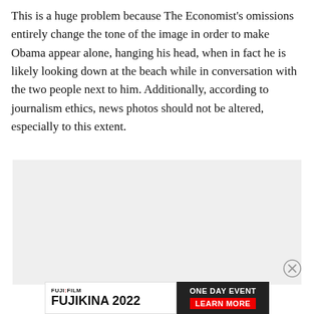This is a huge problem because The Economist's omissions entirely change the tone of the image in order to make Obama appear alone, hanging his head, when in fact he is likely looking down at the beach while in conversation with the two people next to him. Additionally, according to journalism ethics, news photos should not be altered, especially to this extent.
[Figure (other): Grey placeholder image area, likely a photo or embedded content area that has not loaded or been redacted]
[Figure (other): Fujifilm Fujikina 2022 One Day Event advertisement banner with black and red sections and Learn More call to action]